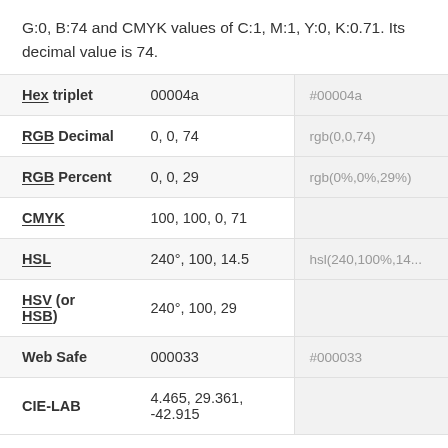G:0, B:74 and CMYK values of C:1, M:1, Y:0, K:0.71. Its decimal value is 74.
| Property | Value | CSS/Code |
| --- | --- | --- |
| Hex triplet | 00004a | #00004a |
| RGB Decimal | 0, 0, 74 | rgb(0,0,74) |
| RGB Percent | 0, 0, 29 | rgb(0%,0%,29%) |
| CMYK | 100, 100, 0, 71 |  |
| HSL | 240°, 100, 14.5 | hsl(240,100%,14... |
| HSV (or HSB) | 240°, 100, 29 |  |
| Web Safe | 000033 | #000033 |
| CIE-LAB | 4.465, 29.361, -42.915 |  |